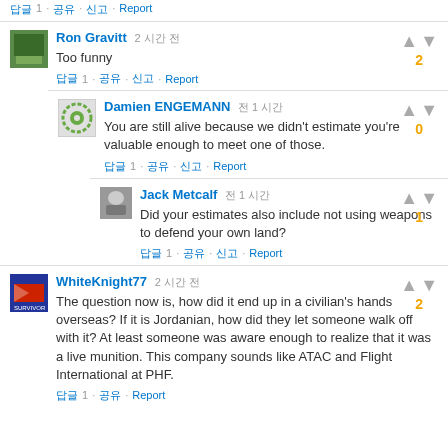[CJK] 1 · [CJK] · [CJK] · Report
Ron Gravitt  2 [CJK]
Too funny
[CJK] 1 · [CJK] · [CJK] · Report
Damien ENGEMANN  [CJK] 1 [CJK]
You are still alive because we didn't estimate you're valuable enough to meet one of those.
[CJK] 1 · [CJK] · [CJK] · Report
Jack Metcalf  [CJK] 1 [CJK]
Did your estimates also include not using weapons to defend your own land?
[CJK] 1 · [CJK] · [CJK] · Report
WhiteKnight77  2 [CJK]
The question now is, how did it end up in a civilian's hands overseas? If it is Jordanian, how did they let someone walk off with it? At least someone was aware enough to realize that it was a live munition. This company sounds like ATAC and Flight International at PHF.
[CJK] 1 · [CJK] · Report